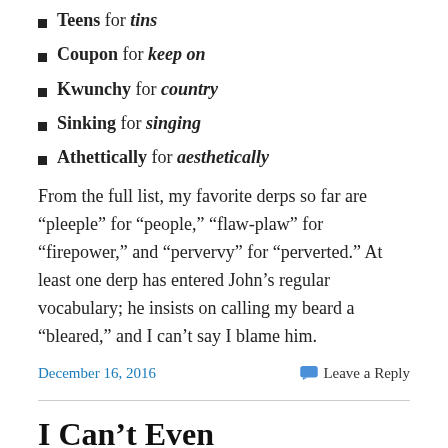Teens for tins
Coupon for keep on
Kwunchy for country
Sinking for singing
Athettically for aesthetically
From the full list, my favorite derps so far are “pleeple” for “people,” “flaw-plaw” for “firepower,” and “pervervy” for “perverted.” At least one derp has entered John’s regular vocabulary; he insists on calling my beard a “bleared,” and I can’t say I blame him.
December 16, 2016   Leave a Reply
I Can’t Even